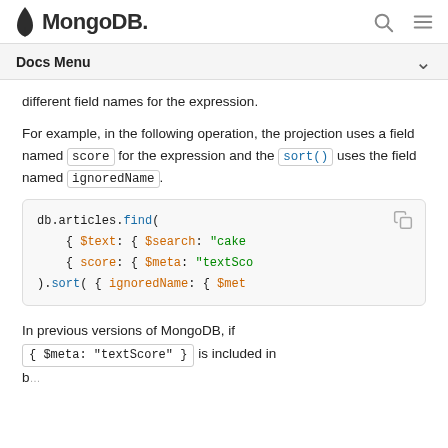MongoDB
Docs Menu
different field names for the expression.
For example, in the following operation, the projection uses a field named score for the expression and the sort() uses the field named ignoredName.
[Figure (screenshot): Code block showing: db.articles.find( { $text: { $search: "cake" { score: { $meta: "textSco ).sort( { ignoredName: { $met]
In previous versions of MongoDB, if { $meta: "textScore" } is included in both the projection and sort, you must if